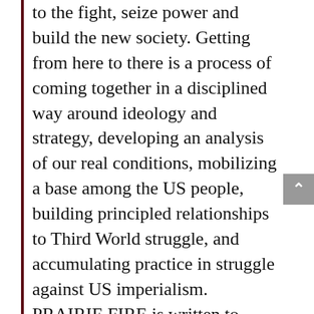to the fight, seize power and build the new society. Getting from here to there is a process of coming together in a disciplined way around ideology and strategy, developing an analysis of our real conditions, mobilizing a base among the US people, building principled relationships to Third World struggle, and accumulating practice in struggle against US imperialism. PRAIRIE FIRE is written to communist-minded revolutionaries, independent organizers and anti-imperialists; those who carry the traditions and lessons of the struggles of the last decade, those who join in the struggles of today. PRAIRIE FIRE is written to all sisters and brothers who are engaged in